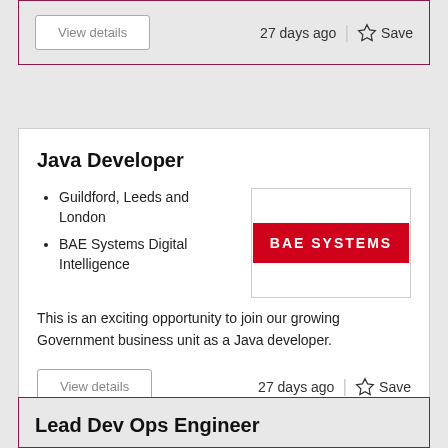View details
27 days ago
Save
Java Developer
Guildford, Leeds and London
BAE Systems Digital Intelligence
[Figure (logo): BAE Systems logo — white text on red background reading BAE SYSTEMS]
This is an exciting opportunity to join our growing Government business unit as a Java developer.
View details
27 days ago
Save
Lead Dev Ops Engineer